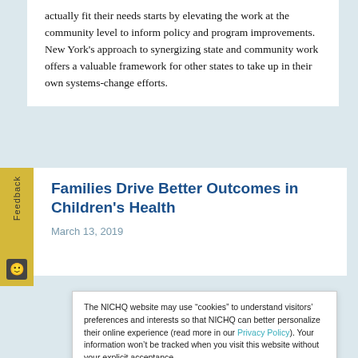actually fit their needs starts by elevating the work at the community level to inform policy and program improvements. New York’s approach to synergizing state and community work offers a valuable framework for other states to take up in their own systems-change efforts.
Families Drive Better Outcomes in Children’s Health
March 13, 2019
The NICHQ website may use “cookies” to understand visitors’ preferences and interests so that NICHQ can better personalize their online experience (read more in our Privacy Policy). Your information won’t be tracked when you visit this website without your explicit acceptance.